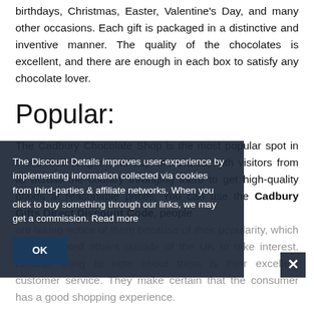birthdays, Christmas, Easter, Valentine's Day, and many other occasions. Each gift is packaged in a distinctive and inventive manner. The quality of the chocolates is excellent, and there are enough in each box to satisfy any chocolate lover.
Popular:
The Cadbury Chocolate Shop is the most popular spot in the United Kingdom to buy chocolates, with visitors from all across the country thronging there to get high-quality goods at reasonable prices. You can use the Cadbury Gifts Direct Discount Code, people are taking notice of them because of their popularity, which has prompted others outside of the UK to take interest. Another thing to note about them is their excellent customer service. They make certain that the consumer has a good shopping experience.
The Discount Details improves user-experience by implementing information collected via cookies from third-parties & affiliate networks. When you click to buy something through our links, we may get a commission. Read more
OK